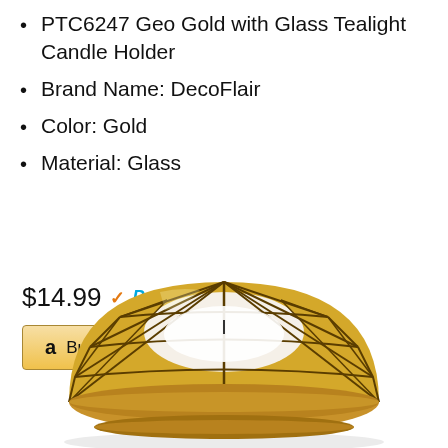PTC6247 Geo Gold with Glass Tealight Candle Holder
Brand Name: DecoFlair
Color: Gold
Material: Glass
$14.99 ✓Prime
Buy on Amazon
[Figure (photo): Gold geometric dome-shaped tealight candle holder with glass insert, partially cropped at bottom of page]